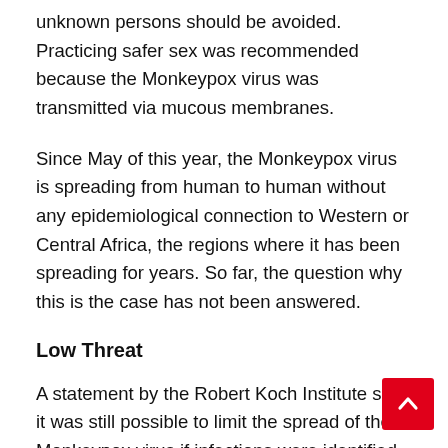unknown persons should be avoided. Practicing safer sex was recommended because the Monkeypox virus was transmitted via mucous membranes.
Since May of this year, the Monkeypox virus is spreading from human to human without any epidemiological connection to Western or Central Africa, the regions where it has been spreading for years. So far, the question why this is the case has not been answered.
Low Threat
A statement by the Robert Koch Institute says it was still possible to limit the spread of the Monkeypox virus if infections were identified on time and cases and close contacts were tested.